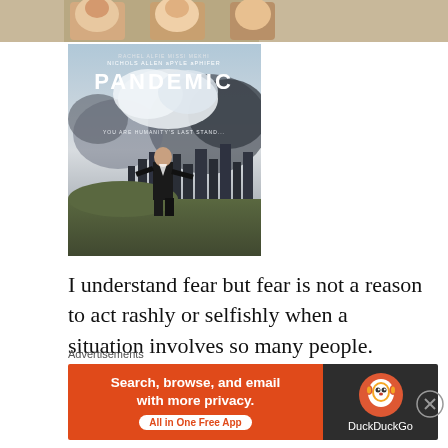[Figure (photo): Partial view of a movie promotional image at the top of the page, showing people's faces cropped]
[Figure (photo): Movie poster for 'PANDEMIC' showing a person standing with weapons looking at a destroyed cityscape. Tagline: YOU ARE HUMANITY'S LAST STAND. Cast: Rachel Nichols, Alfie Allen, Missi Pyle, Mekhi Phifer]
I understand fear but fear is not a reason to act rashly or selfishly when a situation involves so many people. Aggressive reactions and resistance
Advertisements
[Figure (other): DuckDuckGo advertisement banner: 'Search, browse, and email with more privacy. All in One Free App' on orange background with DuckDuckGo logo on dark background]